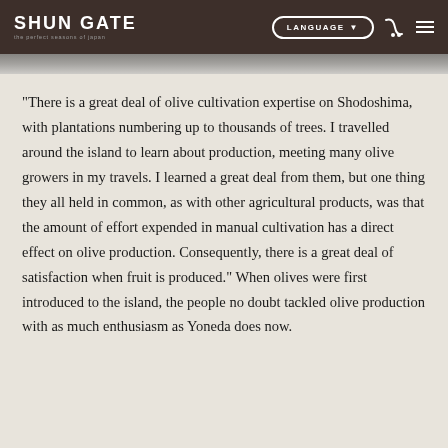SHUN GATE – The perfect seasons of Japan | LANGUAGE ▼
“There is a great deal of olive cultivation expertise on Shodoshima, with plantations numbering up to thousands of trees. I travelled around the island to learn about production, meeting many olive growers in my travels. I learned a great deal from them, but one thing they all held in common, as with other agricultural products, was that the amount of effort expended in manual cultivation has a direct effect on olive production. Consequently, there is a great deal of satisfaction when fruit is produced.” When olives were first introduced to the island, the people no doubt tackled olive production with as much enthusiasm as Yoneda does now.